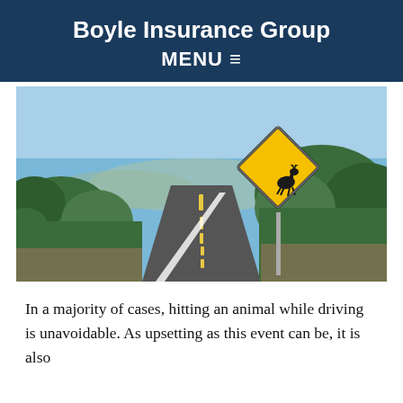Boyle Insurance Group
MENU ≡
[Figure (photo): A road stretching into the distance with a yellow diamond-shaped deer crossing warning sign on the right side, surrounded by green trees under a clear blue sky.]
In a majority of cases, hitting an animal while driving is unavoidable. As upsetting as this event can be, it is also